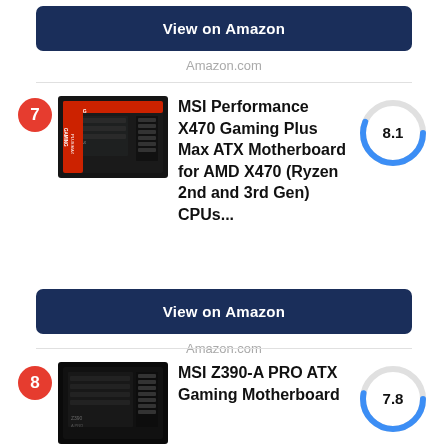View on Amazon
Amazon.com
MSI Performance X470 Gaming Plus Max ATX Motherboard for AMD X470 (Ryzen 2nd and 3rd Gen) CPUs...
[Figure (donut-chart): Score 8.1]
View on Amazon
Amazon.com
MSI Z390-A PRO ATX Gaming Motherboard
[Figure (donut-chart): Score 7.8]